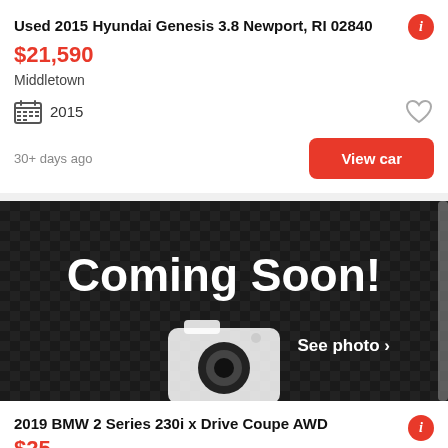Used 2015 Hyundai Genesis 3.8 Newport, RI 02840
$21,590
Middletown
2015
30+ days ago
View car
[Figure (photo): Coming Soon! placeholder image with camera icon and 'See photo >' text on dark background]
2019 BMW 2 Series 230i x Drive Coupe AWD
$25,000 (partial, cut off)